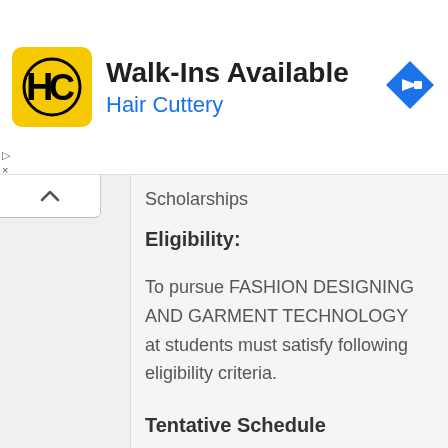[Figure (logo): Hair Cuttery advertisement banner with HC logo in yellow square, title 'Walk-Ins Available', subtitle 'Hair Cuttery' in blue, and blue diamond navigation icon]
Scholarships
Eligibility:
To pursue FASHION DESIGNING AND GARMENT TECHNOLOGY at students must satisfy following eligibility criteria.
Tentative Schedule
INFORMATION TECHNOLOGY Course